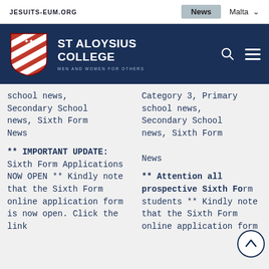JESUITS-EUM.ORG | News | Malta
[Figure (logo): St Aloysius College logo with shield and text: MEN AND WOMEN FOR OTHERS]
school news, Secondary School news, Sixth Form News
** IMPORTANT UPDATE: Sixth Form Applications NOW OPEN ** Kindly note that the Sixth Form online application form is now open. Click the link
Category 3, Primary school news, Secondary School news, Sixth Form News
** Attention all prospective Sixth Form students ** Kindly note that the Sixth Form online application form